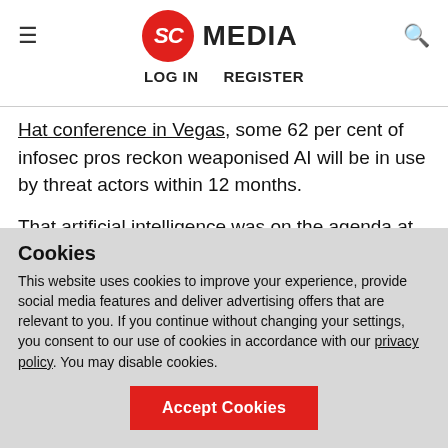SC MEDIA — LOG IN   REGISTER
Hat conference in Vegas, some 62 per cent of infosec pros reckon weaponised AI will be in use by threat actors within 12 months.
That artificial intelligence was on the agenda at Black Hat should come as no surprise. The promise of AI, from machine learning through to automation, in cyber security
Cookies
This website uses cookies to improve your experience, provide social media features and deliver advertising offers that are relevant to you. If you continue without changing your settings, you consent to our use of cookies in accordance with our privacy policy. You may disable cookies.
Accept Cookies